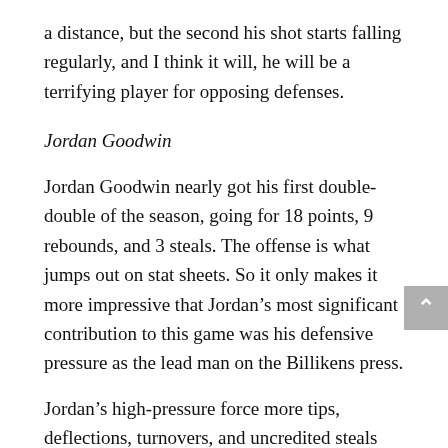a distance, but the second his shot starts falling regularly, and I think it will, he will be a terrifying player for opposing defenses.
Jordan Goodwin
Jordan Goodwin nearly got his first double-double of the season, going for 18 points, 9 rebounds, and 3 steals. The offense is what jumps out on stat sheets. So it only makes it more impressive that Jordan’s most significant contribution to this game was his defensive pressure as the lead man on the Billikens press.
Jordan’s high-pressure force more tips, deflections, turnovers, and uncredited steals than I can count. FGCU eventually built their press break around finding ways to not deal with Jordan.